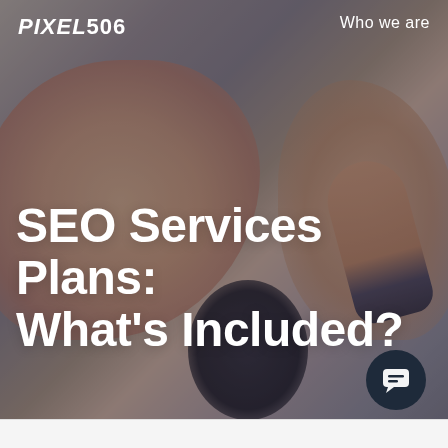[Figure (photo): Hero background photo of hands writing or working on a surface, shown in desaturated/dark blue-gray tones with a blurred depth-of-field effect. A person's hands are visible, one appearing to hold a pen or stylus, with a dark circular object (watch or cap) at the bottom.]
PIXEL506  Who we are
SEO Services Plans: What's Included?